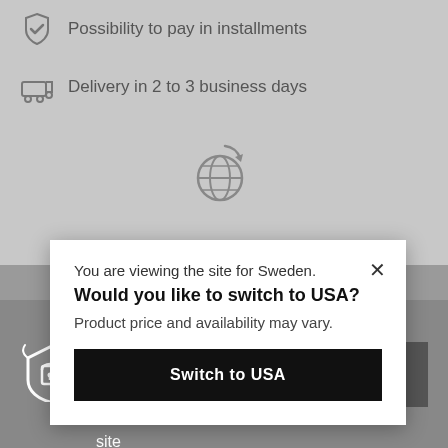Possibility to pay in installments
Delivery in 2 to 3 business days
[Figure (screenshot): Modal dialog overlay on a website. Shows: 'You are viewing the site for Sweden. Would you like to switch to USA? Product price and availability may vary.' with a 'Switch to USA' black button. Below is a cookie consent banner with lock/shield icon, text 'We use cook on this site' and an 'Accept' button.]
You are viewing the site for Sweden.
Would you like to switch to USA?
Product price and availability may vary.
Switch to USA
We use cook on this site
Accept